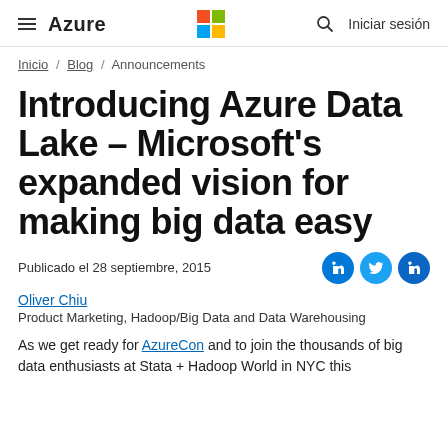Azure | Microsoft logo | search | Iniciar sesión
Inicio / Blog / Announcements
Introducing Azure Data Lake – Microsoft's expanded vision for making big data easy
Publicado el 28 septiembre, 2015
Oliver Chiu
Product Marketing, Hadoop/Big Data and Data Warehousing
As we get ready for AzureCon and to join the thousands of big data enthusiasts at Stata + Hadoop World in NYC this